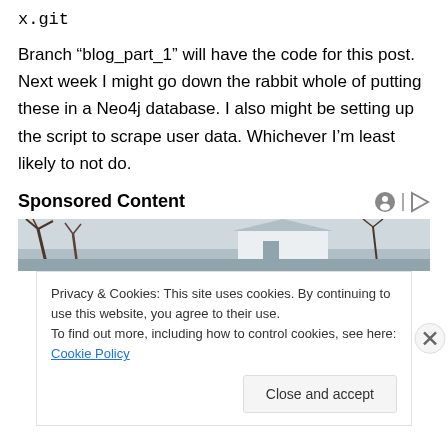x.git
Branch “blog_part_1” will have the code for this post. Next week I might go down the rabbit whole of putting these in a Neo4j database. I also might be setting up the script to scrape user data. Whichever I’m least likely to not do.
Sponsored Content
[Figure (photo): Partial view of a house with bare winter trees against a grey sky]
Privacy & Cookies: This site uses cookies. By continuing to use this website, you agree to their use.
To find out more, including how to control cookies, see here: Cookie Policy